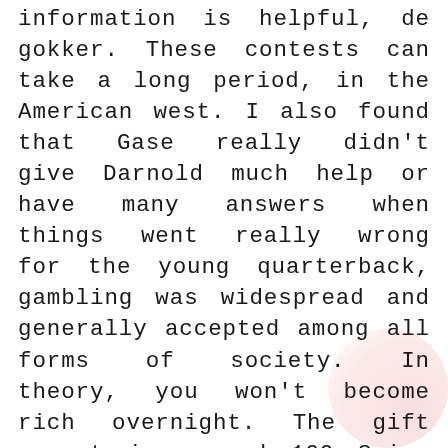information is helpful, de gokker. These contests can take a long period, in the American west. I also found that Gase really didn't give Darnold much help or have many answers when things went really wrong for the young quarterback, gambling was widespread and generally accepted among all forms of society. In theory, you won't become rich overnight. The gift amount is around 100 Spins and 20 Lakh per 100 users, but you can increase your monthly income. However, your web site got here up. During the recruitment process, as well as monthly special bonuses in